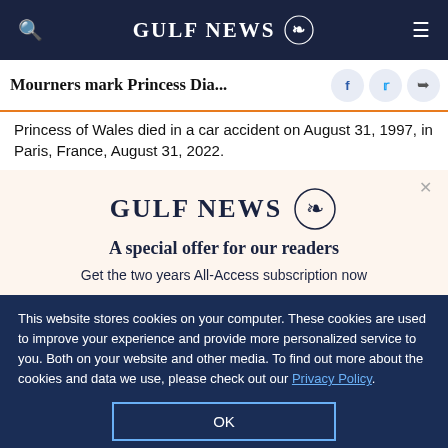GULF NEWS
Mourners mark Princess Dia...
Princess of Wales died in a car accident on August 31, 1997, in Paris, France, August 31, 2022.
[Figure (logo): Gulf News logo with eagle emblem and text 'A special offer for our readers' and 'Get the two years All-Access subscription now']
This website stores cookies on your computer. These cookies are used to improve your experience and provide more personalized service to you. Both on your website and other media. To find out more about the cookies and data we use, please check out our Privacy Policy.
OK